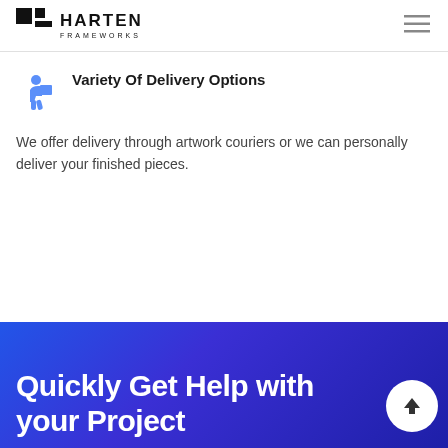HARTEN FRAMEWORKS
Variety Of Delivery Options
We offer delivery through artwork couriers or we can personally deliver your finished pieces.
Quickly Get Help with your Project